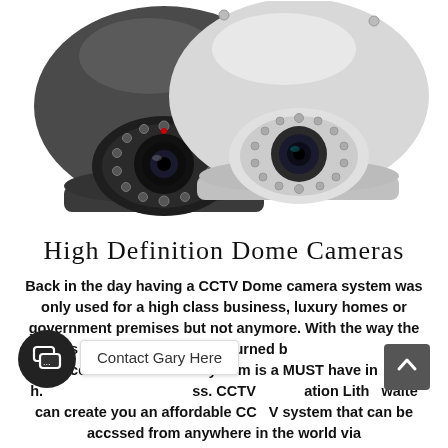[Figure (photo): Two dome security cameras side by side — one dark grey/black on the left, one white/cream on the right. Both are HD dome CCTV cameras with visible IR LEDs around the lens.]
High Definition Dome Cameras
Back in the day having a CCTV Dome camera system was only used for a high class business, luxury homes or government premises but not anymore. With the way the changes in the economy have turned b... a cctv dome camera system is a MUST have in h. Contact Gary Here ...ss. CCTV Installation Lith...waite can create you an affordable CCTV system that can be accssed from anywhere in the world via